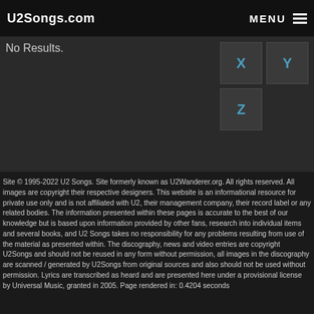U2Songs.com   MENU
No Results.
[Figure (other): Letter navigation buttons: X, Y, Z in dark grey squares with teal labels]
Site © 1995-2022 U2 Songs. Site formerly known as U2Wanderer.org. All rights reserved. All images are copyright their respective designers. This website is an informational resource for private use only and is not affiliated with U2, their management company, their record label or any related bodies. The information presented within these pages is accurate to the best of our knowledge but is based upon information provided by other fans, research into individual items and several books, and U2 Songs takes no responsibility for any problems resulting from use of the material as presented within. The discography, news and video entries are copyright U2Songs and should not be reused in any form without permission, all images in the discography are scanned / generated by U2Songs from original sources and also should not be used without permission. Lyrics are transcribed as heard and are presented here under a provisional license by Universal Music, granted in 2005. Page rendered in: 0.4204 seconds